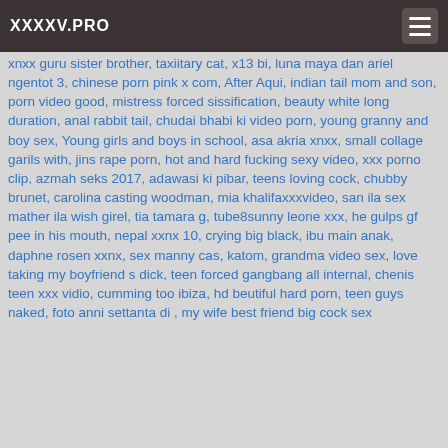XXXXV.PRO
xnxx guru sister brother, taxiitary cat, x13 bi, luna maya dan ariel ngentot 3, chinese porn pink x com, After Aqui, indian tail mom and son, porn video good, mistress forced sissification, beauty white long duration, anal rabbit tail, chudai bhabi ki video porn, young granny and boy sex, Young girls and boys in school, asa akria xnxx, small collage garils with, jins rape porn, hot and hard fucking sexy video, xxx porno clip, azmah seks 2017, adawasi ki pibar, teens loving cock, chubby brunet, carolina casting woodman, mia khalifaxxxvideo, san ila sex mather ila wish girel, tia tamara g, tube8sunny leone xxx, he gulps gf pee in his mouth, nepal xxnx 10, crying big black, ibu main anak, daphne rosen xxnx, sex manny cas, katom, grandma video sex, love taking my boyfriend s dick, teen forced gangbang all internal, chenis teen xxx vidio, cumming too ibiza, hd beutiful hard porn, teen guys naked, foto anni settanta di , my wife best friend big cock sex